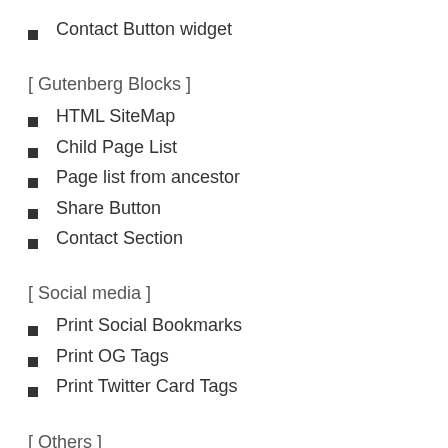Contact Button widget
[ Gutenberg Blocks ]
HTML SiteMap
Child Page List
Page list from ancestor
Share Button
Contact Section
[ Social media ]
Print Social Bookmarks
Print OG Tags
Print Twitter Card Tags
[ Others ]
Print Google Analytics tag
Print meta description tag